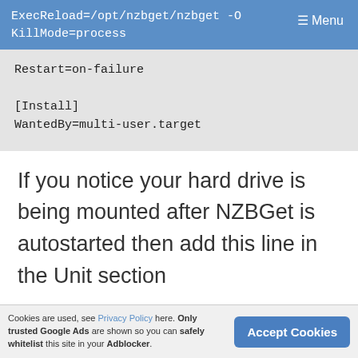ExecReload=/opt/nzbget/nzbget -O
KillMode=process
Restart=on-failure

[Install]
WantedBy=multi-user.target
If you notice your hard drive is being mounted after NZBGet is autostarted then add this line in the Unit section
Replace /mnt/usbstorage with the path to
Cookies are used, see Privacy Policy here. Only trusted Google Ads are shown so you can safely whitelist this site in your Adblocker.